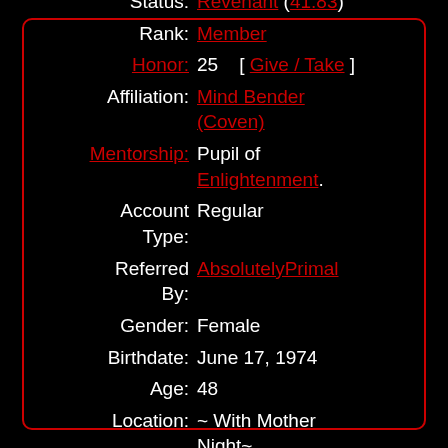Status: Revenant (41.83)
Rank: Member
Honor: 25  [ Give / Take ]
Affiliation: Mind Bender (Coven)
Mentorship: Pupil of Enlightenment.
Account Type: Regular
Referred By: AbsolutelyPrimal
Gender: Female
Birthdate: June 17, 1974
Age: 48
Location: ~ With Mother Night~